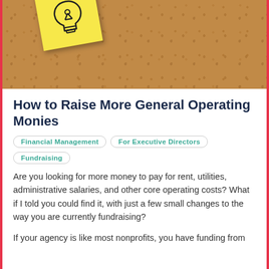[Figure (photo): Cork board background with a yellow sticky note featuring a lightbulb icon drawn in black]
How to Raise More General Operating Monies
Financial Management
For Executive Directors
Fundraising
Are you looking for more money to pay for rent, utilities, administrative salaries, and other core operating costs? What if I told you could find it, with just a few small changes to the way you are currently fundraising?
If your agency is like most nonprofits, you have funding from...